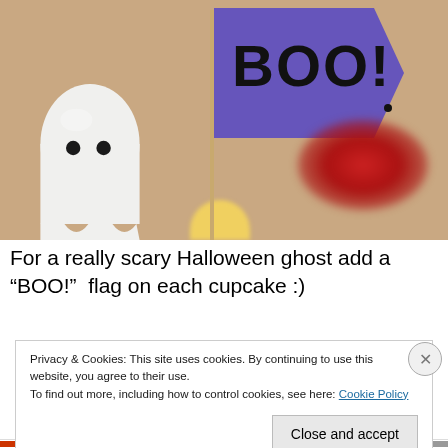[Figure (photo): Halloween ghost cupcake with a purple 'BOO!' flag on a stick. White ghost-shaped cupcake decoration with two black dot eyes. Blurred red lips and yellow cupcake visible in background. Warm beige/tan background.]
For a really scary Halloween ghost add a “BOO!”  flag on each cupcake :)
Privacy & Cookies: This site uses cookies. By continuing to use this website, you agree to their use.
To find out more, including how to control cookies, see here: Cookie Policy
Close and accept